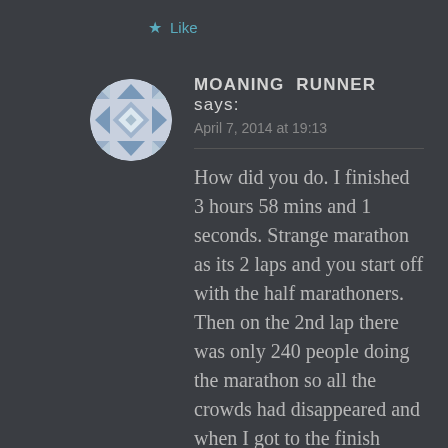★ Like
[Figure (illustration): Circular avatar with blue and white geometric quilt pattern]
MOANING RUNNER says:
April 7, 2014 at 19:13
How did you do. I finished 3 hours 58 mins and 1 seconds. Strange marathon as its 2 laps and you start off with the half marathoners. Then on the 2nd lap there was only 240 people doing the marathon so all the crowds had disappeared and when I got to the finish there was only about 40 people and